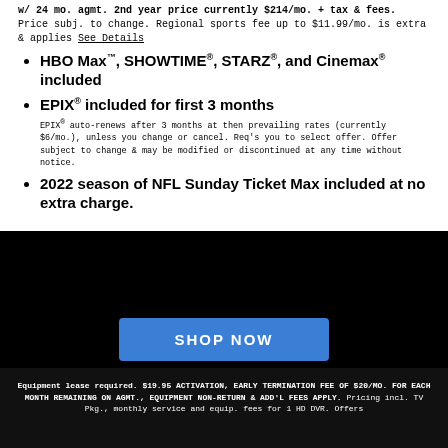w/ 24 mo. agmt. 2nd year price currently $214/mo. + tax & fees. Price subj. to change. Regional sports fee up to $11.99/mo. is extra & applies See Details
HBO Max™, SHOWTIME®, STARZ®, and Cinemax® included
EPIX® included for first 3 months
EPIX® auto-renews after 3 months at then prevailing rates (currently $6/mo.), unless you change or cancel. Req's you to select offer. Offer subject to change & may be modified or discontinued at any time without notice.
2022 season of NFL Sunday Ticket Max included at no extra charge.
SHOP NOW
Equipment lease required. $19.95 ACTIVATION, EARLY TERMINATION FEE OF $20/MO. FOR EACH MONTH REMAINING ON AGMT., EQUIPMENT NON-RETURN & ADD'L FEES APPLY. Pricing incl. TV Pkg., monthly service and equip. fees for 1 HD DVR. Offers